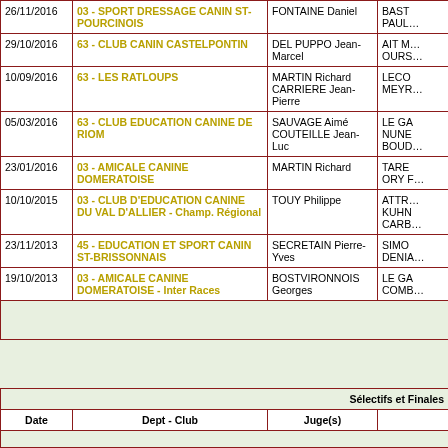| Date | Dept - Club | Juge(s) |  |
| --- | --- | --- | --- |
| 26/11/2016 | 03 - SPORT DRESSAGE CANIN ST-POURCINOIS | FONTAINE Daniel | BAST PAUL… |
| 29/10/2016 | 63 - CLUB CANIN CASTELPONTIN | DEL PUPPO Jean-Marcel | AIT M… OURS… |
| 10/09/2016 | 63 - LES RATLOUPS | MARTIN Richard CARRIERE Jean-Pierre | LECO MEYR… |
| 05/03/2016 | 63 - CLUB EDUCATION CANINE DE RIOM | SAUVAGE Aimé COUTEILLE Jean-Luc | LE GA NUNE BOUD… |
| 23/01/2016 | 03 - AMICALE CANINE DOMERATOISE | MARTIN Richard | TARE ORY F… |
| 10/10/2015 | 03 - CLUB D'EDUCATION CANINE DU VAL D'ALLIER - Champ. Régional | TOUY Philippe | ATTR… KUHN CARB… |
| 23/11/2013 | 45 - EDUCATION ET SPORT CANIN ST-BRISSONNAIS | SECRETAIN Pierre-Yves | SIMO DENIA… |
| 19/10/2013 | 03 - AMICALE CANINE DOMERATOISE - Inter Races | BOSTVIRONNOIS Georges | LE GA COMB… |
Sélectifs et Finales
| Date | Dept - Club | Juge(s) |  |
| --- | --- | --- | --- |